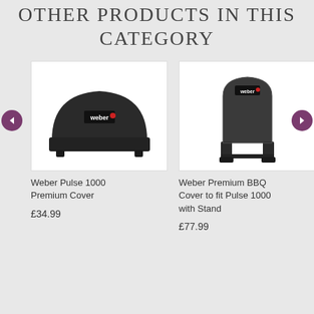Other Products In This Category
[Figure (photo): Weber Pulse 1000 Premium Cover - black grill cover product photo on white background]
Weber Pulse 1000 Premium Cover
£34.99
[Figure (photo): Weber Premium BBQ Cover to fit Pulse 1000 with Stand - dark gray tall grill cover product photo on white background]
Weber Premium BBQ Cover to fit Pulse 1000 with Stand
£77.99